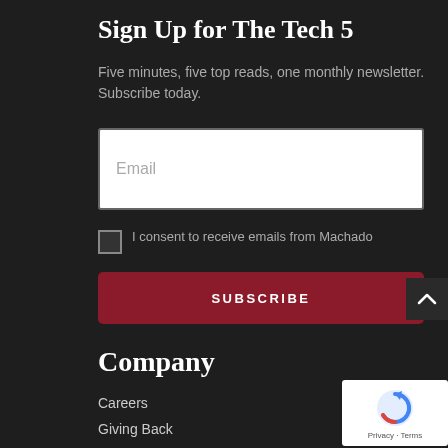Sign Up for The Tech 5
Five minutes, five top reads, one monthly newsletter. Subscribe today.
Email
I consent to receive emails from Machado
SUBSCRIBE
Company
Careers
Giving Back
[Figure (logo): Google reCAPTCHA badge with circular arrow icon and Privacy - Terms text]